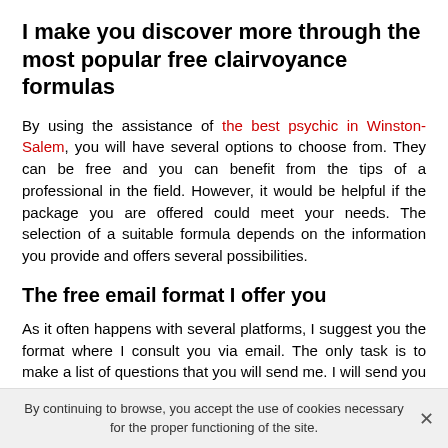I make you discover more through the most popular free clairvoyance formulas
By using the assistance of the best psychic in Winston-Salem, you will have several options to choose from. They can be free and you can benefit from the tips of a professional in the field. However, it would be helpful if the package you are offered could meet your needs. The selection of a suitable formula depends on the information you provide and offers several possibilities.
The free email format I offer you
As it often happens with several platforms, I suggest you the format where I consult you via email. The only task is to make a list of questions that you will send me. I will send you in a short time approaches of solutions after having
By continuing to browse, you accept the use of cookies necessary for the proper functioning of the site.